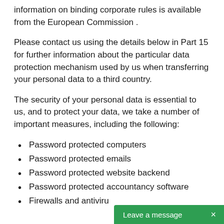information on binding corporate rules is available from the European Commission .
Please contact us using the details below in Part 15 for further information about the particular data protection mechanism used by us when transferring your personal data to a third country.
The security of your personal data is essential to us, and to protect your data, we take a number of important measures, including the following:
Password protected computers
Password protected emails
Password protected website backend
Password protected accountancy software
Firewalls and antiviru…